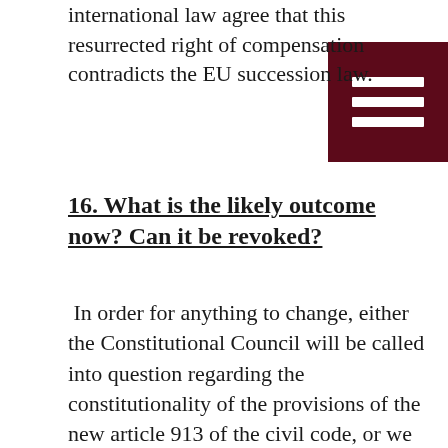international law agree that this resurrected right of compensation contradicts the EU succession law.
16.  What is the likely outcome now? Can it be revoked?
In order for anything to change, either the Constitutional Council will be called into question regarding the constitutionality of the provisions of the new article 913 of the civil code, or we will have to wait until someone takes this matter to Court. In the latter scenario, it will take years before we get a final decision.